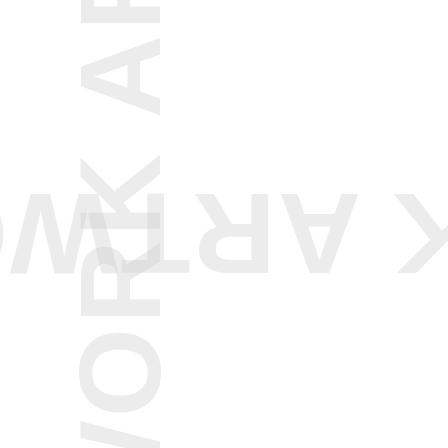[Figure (other): Faint light gray vertical text reading 'FRAMEWORK ARTWORK' rotated 90 degrees counterclockwise along the left edge of the page, extremely low opacity watermark-style text]